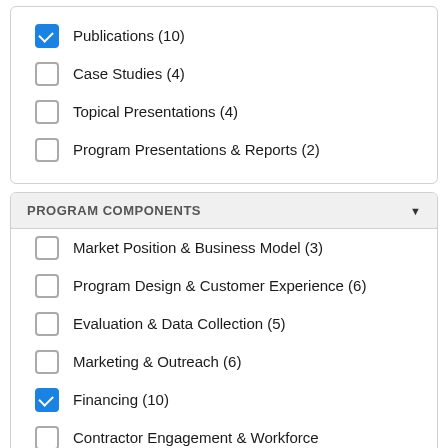Publications (10) [checked]
Case Studies (4) [unchecked]
Topical Presentations (4) [unchecked]
Program Presentations & Reports (2) [unchecked]
PROGRAM COMPONENTS
Market Position & Business Model (3) [unchecked]
Program Design & Customer Experience (6) [unchecked]
Evaluation & Data Collection (5) [unchecked]
Marketing & Outreach (6) [unchecked]
Financing (10) [checked]
Contractor Engagement & Workforce [unchecked]